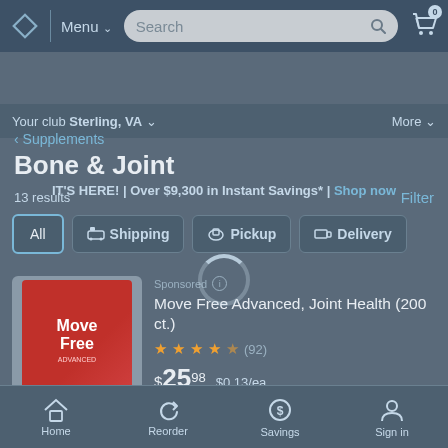[Figure (screenshot): Sam's Club mobile app top navigation bar with logo, Menu dropdown, Search bar, and cart icon showing 0 items]
Your club Sterling, VA ∨    More ∨
IT'S HERE! | Over $9,300 in Instant Savings* | Shop now
< Supplements
Bone & Joint
13 results    Filter
All   🚚 Shipping   🏪 Pickup   📦 Delivery
Sponsored ℹ Move Free Advanced, Joint Health (200 ct.)  ★★★★½ (92)  $25.98  $0.13/ea
Home   Reorder   Savings   Sign in